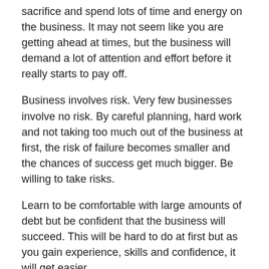sacrifice and spend lots of time and energy on the business. It may not seem like you are getting ahead at times, but the business will demand a lot of attention and effort before it really starts to pay off.
Business involves risk. Very few businesses involve no risk. By careful planning, hard work and not taking too much out of the business at first, the risk of failure becomes smaller and the chances of success get much bigger. Be willing to take risks.
Learn to be comfortable with large amounts of debt but be confident that the business will succeed. This will be hard to do at first but as you gain experience, skills and confidence, it will get easier.
Don't take no for an answer. You are smart and hard working. Don't let challenges become obstacles. Figure out how to deal with them and move on.